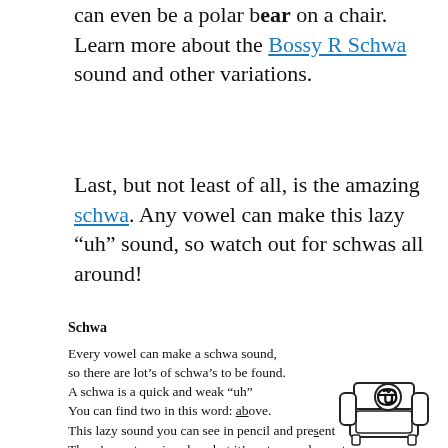can even be a polar bear on a chair. Learn more about the Bossy R Schwa sound and other variations.
Last, but not least of all, is the amazing schwa. Any vowel can make this lazy “uh” sound, so watch out for schwas all around!
Schwa
Every vowel can make a schwa sound,
so there are lot’s of schwa’s to be found.
A schwa is a quick and weak “uh”
You can find two in this word: above.
This lazy sound you can see in pencil and present
There’s no stress in schwa but it’s not very pleasant.
It’s the most common sound in the language of English.
So you’ll hear it a lot, it’s kind of like fungus.
[Figure (illustration): Cartoon illustration of a schwa character (the letter schwa/reversed e) sitting in an armchair]